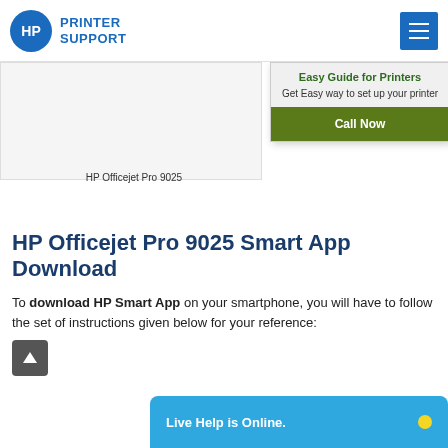HP PRINTER SUPPORT
[Figure (photo): HP Officejet Pro 9025 printer image]
HP Officejet Pro 9025
Easy Guide for Printers
Get Easy way to set up your printer
Call Now
HP Officejet Pro 9025 Smart App Download
To download HP Smart App on your smartphone, you will have to follow the set of instructions given below for your reference:
Live Help is Online.